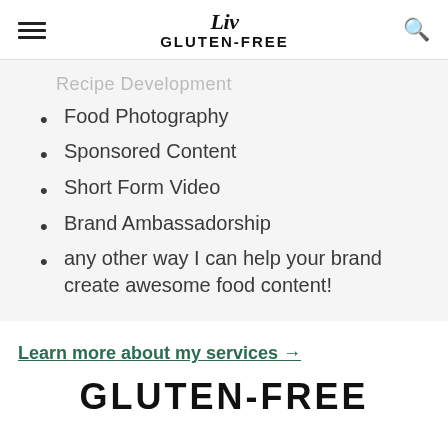Liv GLUTEN-FREE
Recipe Development (faded/partial)
Food Photography
Sponsored Content
Short Form Video
Brand Ambassadorship
any other way I can help your brand create awesome food content!
Learn more about my services →
GLUTEN-FREE